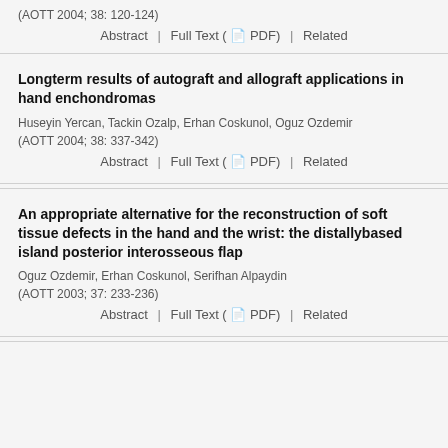(AOTT 2004; 38: 120-124)
Abstract | Full Text ( PDF) | Related
Longterm results of autograft and allograft applications in hand enchondromas
Huseyin Yercan, Tackin Ozalp, Erhan Coskunol, Oguz Ozdemir
(AOTT 2004; 38: 337-342)
Abstract | Full Text ( PDF) | Related
An appropriate alternative for the reconstruction of soft tissue defects in the hand and the wrist: the distallybased island posterior interosseous flap
Oguz Ozdemir, Erhan Coskunol, Serifhan Alpaydin
(AOTT 2003; 37: 233-236)
Abstract | Full Text ( PDF) | Related